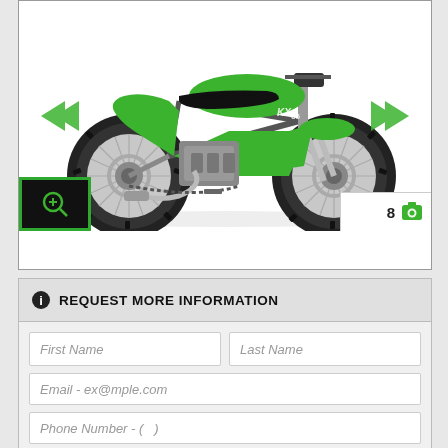[Figure (photo): Green Kawasaki KX65 dirt bike / motocross motorcycle on white background, with left and right navigation arrows on either side. Bottom left has a black zoom button with green border and magnifying glass icon. Bottom right shows '8' and a camera icon indicating 8 photos.]
REQUEST MORE INFORMATION
First Name
Last Name
Email - ex@mple.com
Phone Number - ( )